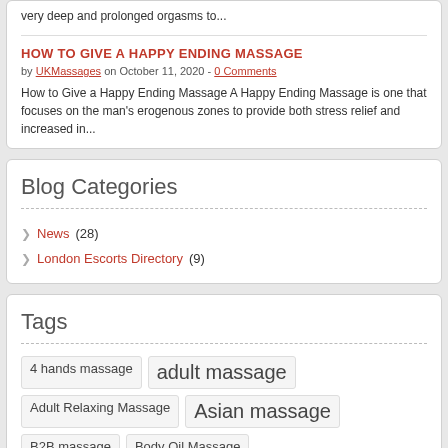very deep and prolonged orgasms to...
HOW TO GIVE A HAPPY ENDING MASSAGE
by UKMassages on October 11, 2020 - 0 Comments
How to Give a Happy Ending Massage A Happy Ending Massage is one that focuses on the man's erogenous zones to provide both stress relief and increased in...
Blog Categories
News (28)
London Escorts Directory (9)
Tags
4 hands massage
adult massage
Adult Relaxing Massage
Asian massage
B2B massage
Body Oil Massage
body to body massage